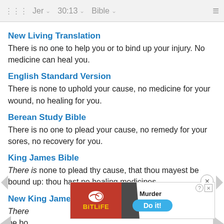Jer  30:13  Bible
New Living Translation
There is no one to help you or to bind up your injury. No medicine can heal you.
English Standard Version
There is none to uphold your cause, no medicine for your wound, no healing for you.
Berean Study Bible
There is no one to plead your cause, no remedy for your sores, no recovery for you.
King James Bible
There is none to plead thy cause, that thou mayest be bound up: thou hast no healing medicines.
New King James Version
There is none to plead your cause, that you may be bo...